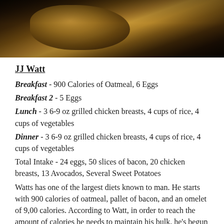[Figure (photo): Dark photograph of a person, mostly obscured, with warm golden/brown tones]
JJ Watt
Breakfast - 900 Calories of Oatmeal, 6 Eggs
Breakfast 2 - 5 Eggs
Lunch - 3 6-9 oz grilled chicken breasts, 4 cups of rice, 4 cups of vegetables
Dinner - 3 6-9 oz grilled chicken breasts, 4 cups of rice, 4 cups of vegetables
Total Intake - 24 eggs, 50 slices of bacon, 20 chicken breasts, 13 Avocados, Several Sweet Potatoes
Watts has one of the largest diets known to man. He starts with 900 calories of oatmeal, pallet of bacon, and an omelet of 9,00 calories. According to Watt, in order to reach the amount of calories he needs to maintain his bulk, he's begun "smashing avocados" like they were going extinct, to the tune of 13 avocados. Over the course of a single day, Watts goes through 24 eggs, 50 slices of bacon, 20